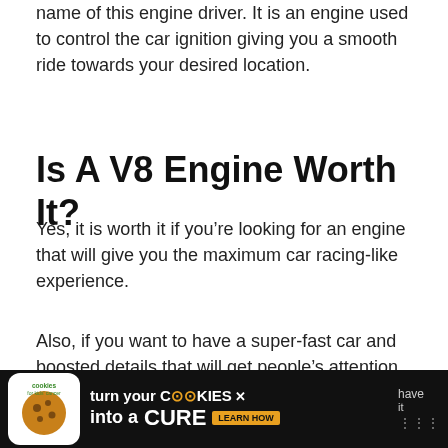name of this engine driver. It is an engine used to control the car ignition giving you a smooth ride towards your desired location.
Is A V8 Engine Worth It?
Yes, it is worth it if you’re looking for an engine that will give you the maximum car racing-like experience.
Also, if you want to have a super-fast car and boosted details that will get people’s attention on the road.
Summary
[Figure (screenshot): Advertisement banner at the bottom: Cookies for Kids Cancer - 'turn your COOKIES into a CURE LEARN HOW' with logo and partial text behind it.]